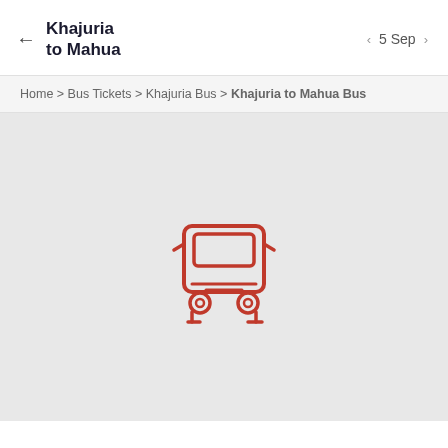Khajuria to Mahua | 5 Sep
Home > Bus Tickets > Khajuria Bus > Khajuria to Mahua Bus
[Figure (illustration): Bus front-view icon in red outline style, shown on a light grey background, indicating no bus results found.]